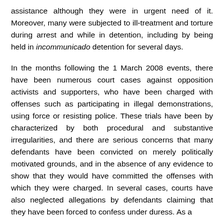assistance although they were in urgent need of it. Moreover, many were subjected to ill-treatment and torture during arrest and while in detention, including by being held in incommunicado detention for several days.
In the months following the 1 March 2008 events, there have been numerous court cases against opposition activists and supporters, who have been charged with offenses such as participating in illegal demonstrations, using force or resisting police. These trials have been by characterized by both procedural and substantive irregularities, and there are serious concerns that many defendants have been convicted on merely politically motivated grounds, and in the absence of any evidence to show that they would have committed the offenses with which they were charged. In several cases, courts have also neglected allegations by defendants claiming that they have been forced to confess under duress. As a